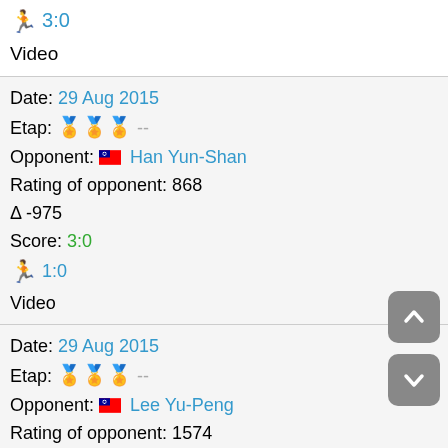🏃 3:0
Video
Date: 29 Aug 2015
Etap: 🏅🏅🏅 --
Opponent: 🇹🇼 Han Yun-Shan
Rating of opponent: 868
Δ -975
Score: 3:0
🏃 1:0
Video
Date: 29 Aug 2015
Etap: 🏅🏅🏅 --
Opponent: 🇹🇼 Lee Yu-Peng
Rating of opponent: 1574
Δ -269
Score: 3:1
🏃 4:0
Video